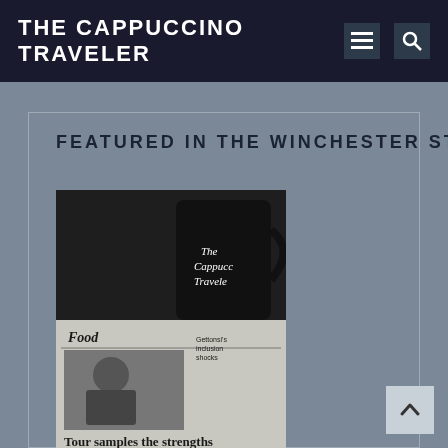THE CAPPUCCINO TRAVELER
FEATURED IN THE WINCHESTER STAR
[Figure (photo): A coffee mug branded 'The Cappuccino Traveler' resting on a newspaper open to the Food section. The newspaper headline reads 'Tour samples the strengths of independent coffee shops'. There is a photo of a person in the newspaper article.]